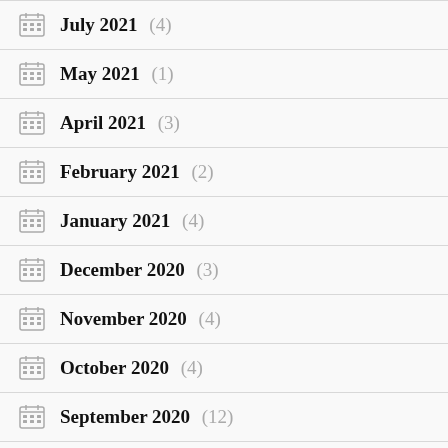July 2021 (4)
May 2021 (1)
April 2021 (3)
February 2021 (2)
January 2021 (4)
December 2020 (3)
November 2020 (4)
October 2020 (4)
September 2020 (12)
August 2020 (6)